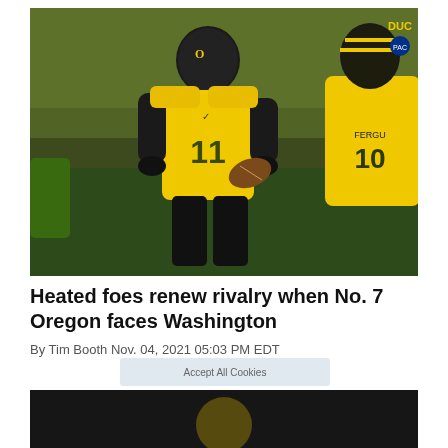[Figure (photo): Two Oregon Ducks football players in yellow and black uniforms on the field. Player #11 is holding a football and celebrating, with another player wearing #10 (Ferguson) partially visible on the right.]
Heated foes renew rivalry when No. 7 Oregon faces Washington
By Tim Booth Nov. 04, 2021 05:03 PM EDT
[Figure (photo): Partial view of another sports photo at the bottom of the page, mostly dark/obscured.]